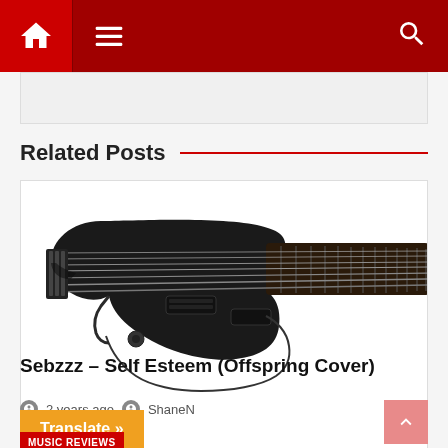Navigation bar with home, menu, and search icons
[Figure (photo): Black electric guitar (headless style, matte black finish) with fretboard extending to the right on white background. Red 'MUSIC REVIEWS' badge in lower left.]
Related Posts
Sebzzz – Self Esteem (Offspring Cover)
2 years ago  ShaneN
Translate »